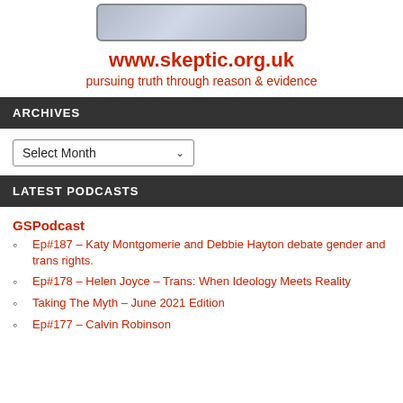[Figure (logo): Skeptic organization logo image with metallic background]
www.skeptic.org.uk
pursuing truth through reason & evidence
ARCHIVES
Select Month
LATEST PODCASTS
GSPodcast
Ep#187 – Katy Montgomerie and Debbie Hayton debate gender and trans rights.
Ep#178 – Helen Joyce – Trans: When Ideology Meets Reality
Taking The Myth – June 2021 Edition
Ep#177 – Calvin Robinson